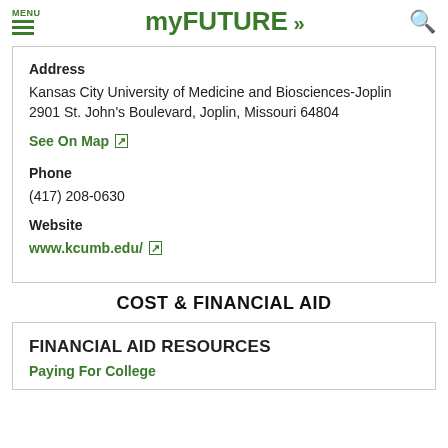MENU myFUTURE»
Address
Kansas City University of Medicine and Biosciences-Joplin
2901 St. John's Boulevard, Joplin, Missouri 64804
See On Map [external link icon]
Phone
(417) 208-0630
Website
www.kcumb.edu/ [external link icon]
COST & FINANCIAL AID
FINANCIAL AID RESOURCES
Paying For College